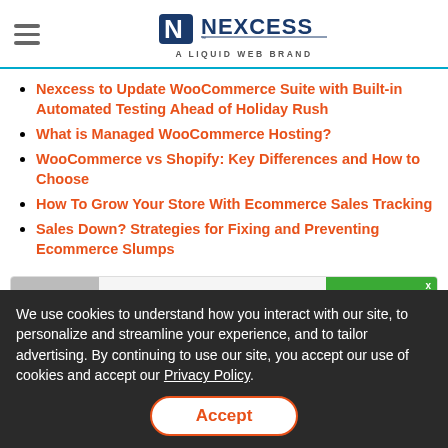NEXCESS — A LIQUID WEB BRAND
Nexcess to Update WooCommerce Suite with Built-in Automated Testing Ahead of Holiday Rush
What is Managed WooCommerce Hosting?
WooCommerce vs Shopify: Key Differences and How to Choose
How To Grow Your Store With Ecommerce Sales Tracking
Sales Down? Strategies for Fixing and Preventing Ecommerce Slumps
[Figure (screenshot): Partial card showing Nexcess logo text and a green Chat Now button overlay]
We use cookies to understand how you interact with our site, to personalize and streamline your experience, and to tailor advertising. By continuing to use our site, you accept our use of cookies and accept our Privacy Policy.
Accept